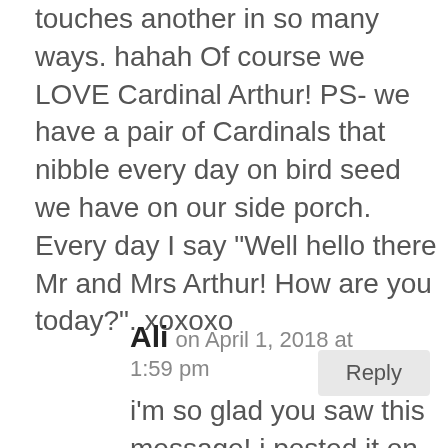touches another in so many ways. hahah Of course we LOVE Cardinal Arthur! PS- we have a pair of Cardinals that nibble every day on bird seed we have on our side porch. Every day I say “Well hello there Mr and Mrs Arthur! How are you today?”. xoxoxo
Reply
Ali on April 1, 2018 at 1:59 pm
i’m so glad you saw this message! i posted it on your Facebook page too. i thought it might make you guys super happy!! :) that island has been on my